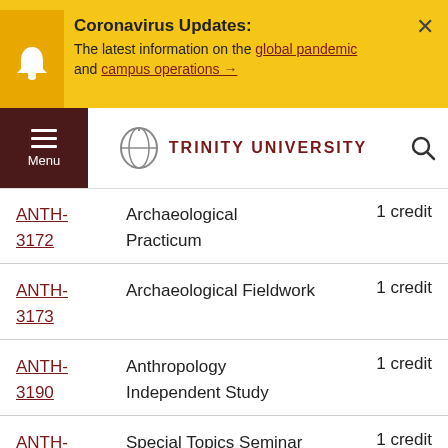Coronavirus Updates: The latest information on the global pandemic and campus operations →
TRINITY UNIVERSITY
| Code | Course Name | Credits |
| --- | --- | --- |
| ANTH-3172 | Archaeological Practicum | 1 credit |
| ANTH-3173 | Archaeological Fieldwork | 1 credit |
| ANTH-3190 | Anthropology Independent Study | 1 credit |
| ANTH-3191 | Special Topics Seminar | 1 credit |